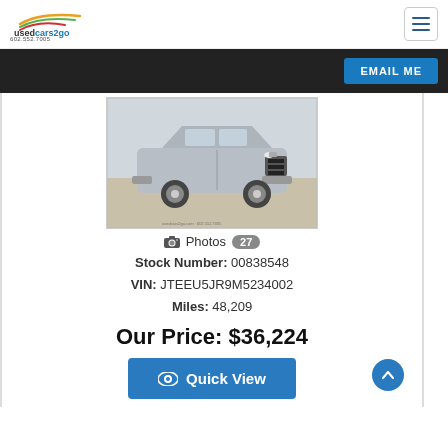usedcars2go 602.552.7005
[Figure (screenshot): EMAIL ME button on dark navigation bar]
[Figure (photo): Silver Toyota 4Runner SUV front three-quarter view on a lot]
Photos 27
Stock Number: 00838548
VIN: JTEEU5JR9M5234002
Miles: 48,209
Our Price: $36,224
Quick View